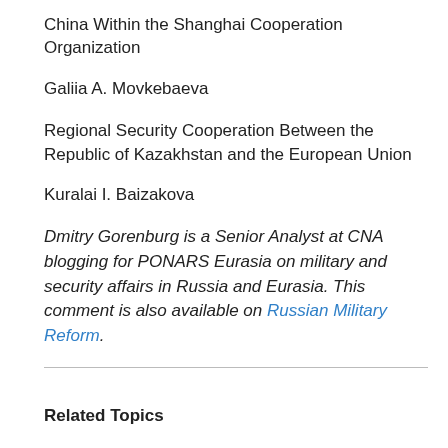China Within the Shanghai Cooperation Organization
Galiia A. Movkebaeva
Regional Security Cooperation Between the Republic of Kazakhstan and the European Union
Kuralai I. Baizakova
Dmitry Gorenburg is a Senior Analyst at CNA blogging for PONARS Eurasia on military and security affairs in Russia and Eurasia. This comment is also available on Russian Military Reform.
Related Topics